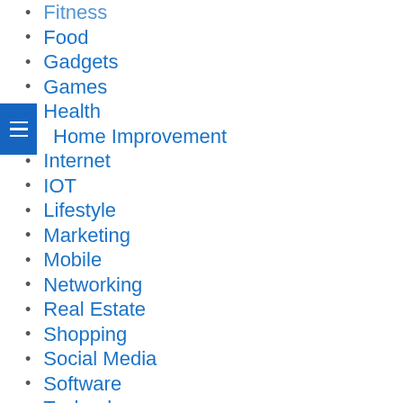Fitness
Food
Gadgets
Games
Health
Home Improvement
Internet
IOT
Lifestyle
Marketing
Mobile
Networking
Real Estate
Shopping
Social Media
Software
Technology
Tips & Tricks